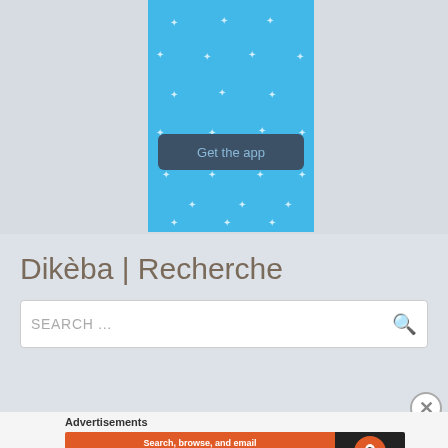[Figure (screenshot): Mobile app promotional banner with light blue background, sparkle decorations, and a 'Get the app' dark button]
Dikèba | Recherche
SEARCH ...
Advertisements
[Figure (screenshot): DuckDuckGo advertisement banner: 'Search, browse, and email with more privacy. All in One Free App' on orange background with DuckDuckGo logo on black background]